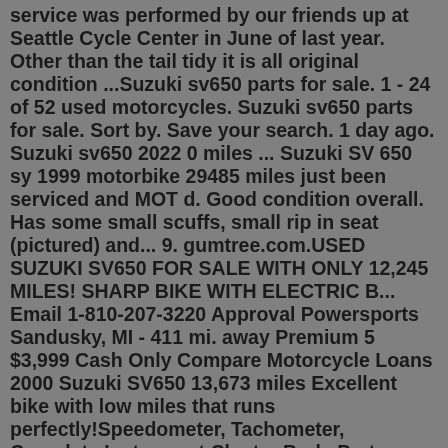service was performed by our friends up at Seattle Cycle Center in June of last year. Other than the tail tidy it is all original condition ...Suzuki sv650 parts for sale. 1 - 24 of 52 used motorcycles. Suzuki sv650 parts for sale. Sort by. Save your search. 1 day ago. Suzuki sv650 2022 0 miles ... Suzuki SV 650 sy 1999 motorbike 29485 miles just been serviced and MOT d. Good condition overall. Has some small scuffs, small rip in seat (pictured) and... 9. gumtree.com.USED SUZUKI SV650 FOR SALE WITH ONLY 12,245 MILES! SHARP BIKE WITH ELECTRIC B... Email 1-810-207-3220 Approval Powersports Sandusky, MI - 411 mi. away Premium 5 $3,999 Cash Only Compare Motorcycle Loans 2000 Suzuki SV650 13,673 miles Excellent bike with low miles that runs perfectly!Speedometer, Tachometer, Complete Instrument Cluster Body Parts - Complete paint sets or individual parts Upper Fairing, Side Fairing, Side Covers, Complete Front Clips Gas Tank, Front Fender, Rear Fender, Fairing Stay, Seat Front Wheel, Rear Wheel and Swing Arm Forks, Triple Tree, Axle